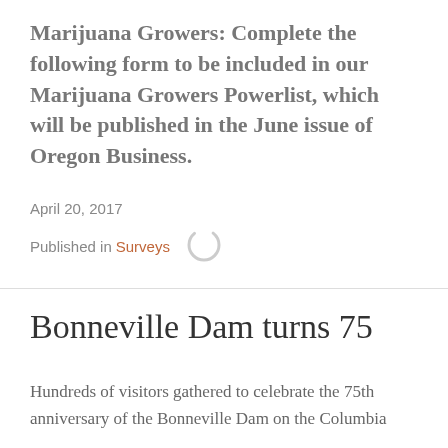Marijuana Growers: Complete the following form to be included in our Marijuana Growers Powerlist, which will be published in the June issue of Oregon Business.
April 20, 2017
Published in Surveys
Bonneville Dam turns 75
Hundreds of visitors gathered to celebrate the 75th anniversary of the Bonneville Dam on the Columbia